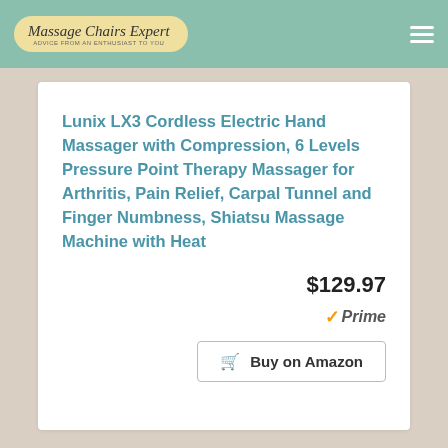Massage Chairs Expert
Lunix LX3 Cordless Electric Hand Massager with Compression, 6 Levels Pressure Point Therapy Massager for Arthritis, Pain Relief, Carpal Tunnel and Finger Numbness, Shiatsu Massage Machine with Heat
$129.97
[Figure (logo): Amazon Prime badge with orange checkmark and italic 'Prime' text]
Buy on Amazon